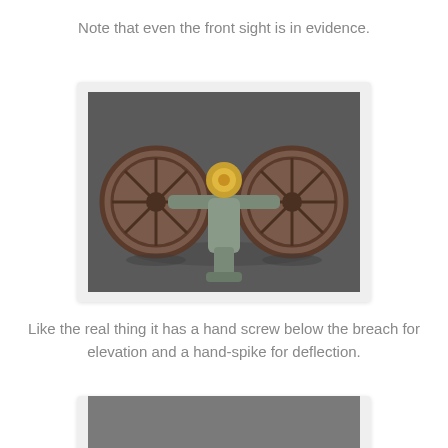Note that even the front sight is in evidence.
[Figure (photo): Rear view of a miniature/model artillery cannon with two large spoked wheels and a trail, golden knob at breech, viewed from behind on a grey surface.]
Like the real thing it has a hand screw below the breach for elevation and a hand-spike for deflection.
[Figure (photo): Partial view of another model cannon photograph, grey background visible, cropped at bottom of page.]